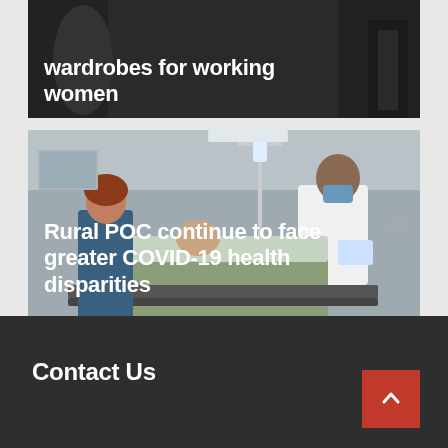[Figure (photo): Dark-toned card/article with white bold text overlay at bottom reading 'wardrobes for working women' on a dark background with a person in black clothing visible]
wardrobes for working women
[Figure (photo): Hospital scene showing a patient in bed, a healthcare worker in white coat and blue mask, and another person, with medical IV equipment visible. White bold text overlay reads 'Rural POC continue to face greater COVID-19 health disparities']
Rural POC continue to face greater COVID-19 health disparities
Contact Us